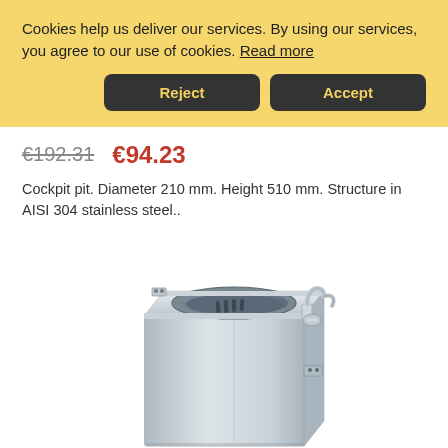Cookies help us deliver our services. By using our services, you agree to our use of cookies. Read more
Reject
Accept
€192.31  €94.23
Cockpit pit. Diameter 210 mm. Height 510 mm. Structure in AISI 304 stainless steel..
[Figure (photo): Stainless steel cockpit pit sink unit with faucet, wall-mounted, showing top view of basin with drain slots and side-mounted chrome tap]